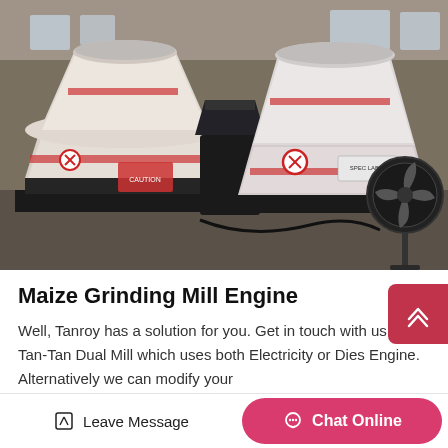[Figure (photo): Industrial factory interior showing large cone crusher machines wrapped in white protective plastic/packaging with red safety warning stickers, sitting on black steel bases. A black industrial fan is visible on the right side. Multiple machines are shown side by side in a warehouse setting.]
Maize Grinding Mill Engine
Well, Tanroy has a solution for you. Get in touch with us the Tan-Tan Dual Mill which uses both Electricity or Dies Engine. Alternatively we can modify your